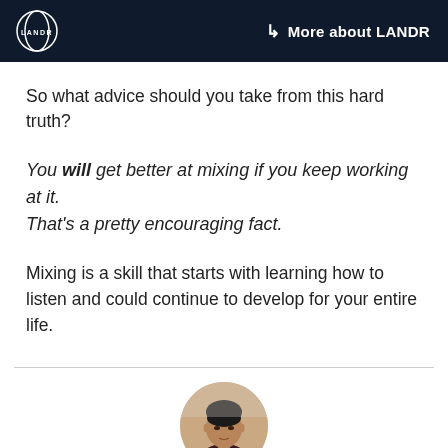LANDR  → More about LANDR
So what advice should you take from this hard truth?
You will get better at mixing if you keep working at it. That's a pretty encouraging fact.
Mixing is a skill that starts with learning how to listen and could continue to develop for your entire life.
[Figure (photo): Circular headshot photo of a young man wearing a dark shirt, against a light background]